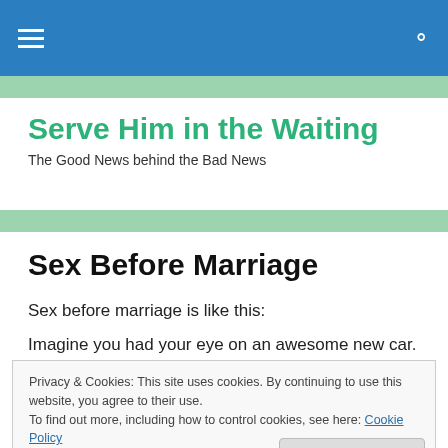Serve Him in the Waiting — navigation bar
Serve Him in the Waiting
The Good News behind the Bad News
Sex Before Marriage
Sex before marriage is like this:
Imagine you had your eye on an awesome new car. You
Privacy & Cookies: This site uses cookies. By continuing to use this website, you agree to their use.
To find out more, including how to control cookies, see here: Cookie Policy